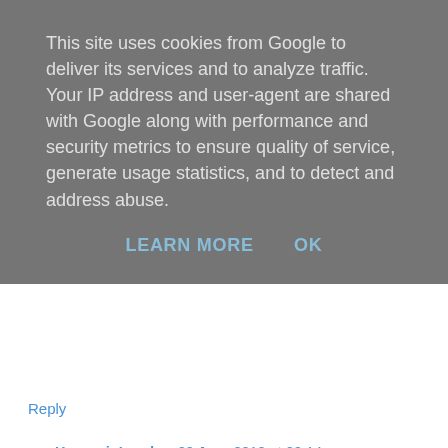This site uses cookies from Google to deliver its services and to analyze traffic. Your IP address and user-agent are shared with Google along with performance and security metrics to ensure quality of service, generate usage statistics, and to detect and address abuse.
LEARN MORE   OK
Reply
HungryinLondon  22 June 2010 at 09:14
sounds and looks great! the review on time out was not that promising but you convinced me otherwise.. I'm getting hungry..
Reply
Louise Wong  22 June 2010 at 13:00
Looks fantastic! Honest produce and great application of cooking techniques. Location is handy for people in the